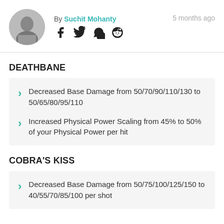By Suchit Mohanty  5 months ago
DEATHBANE
Decreased Base Damage from 50/70/90/110/130 to 50/65/80/95/110
Increased Physical Power Scaling from 45% to 50% of your Physical Power per hit
COBRA'S KISS
Decreased Base Damage from 50/75/100/125/150 to 40/55/70/85/100 per shot